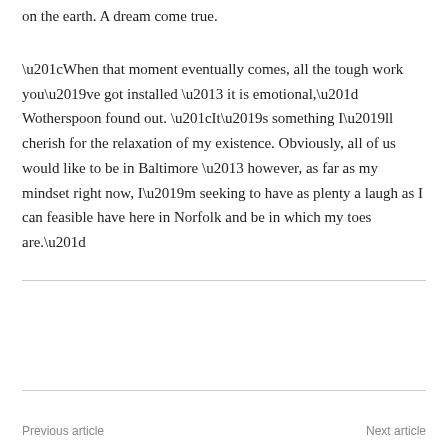on the earth. A dream come true.
“When that moment eventually comes, all the tough work you’ve got installed – it is emotional,” Wotherspoon found out. “It’s something I’ll cherish for the relaxation of my existence. Obviously, all of us would like to be in Baltimore – however, as far as my mindset right now, I’m seeking to have as plenty a laugh as I can feasible have here in Norfolk and be in which my toes are.”
Previous article  Next article